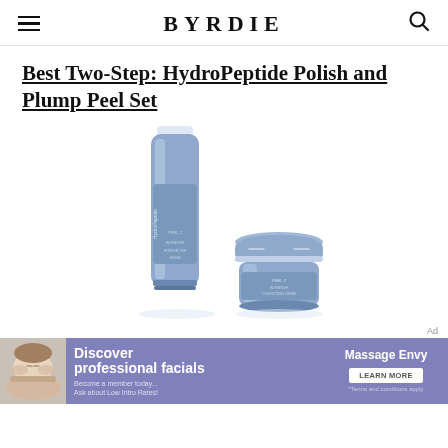BYRDIE
Best Two-Step: HydroPeptide Polish and Plump Peel Set
[Figure (photo): Two HydroPeptide Polish and Plump Peel Set products — a tall cylindrical serum bottle and a round cream jar — in metallic blue/silver packaging on a white background]
Ad
[Figure (infographic): Massage Envy advertisement banner with purple background: 'Discover professional facials – Become a member today... Ask about Low Intro Rates!' with a Learn More button and a photo of a woman receiving a facial massage]